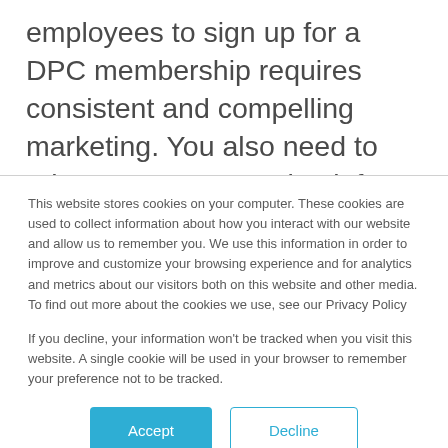employees to sign up for a DPC membership requires consistent and compelling marketing. You also need to rely on HR personnel to inform your practice whenever new employees (or dependents) want to register.
To ensure that new patients have a consistently
This website stores cookies on your computer. These cookies are used to collect information about how you interact with our website and allow us to remember you. We use this information in order to improve and customize your browsing experience and for analytics and metrics about our visitors both on this website and other media. To find out more about the cookies we use, see our Privacy Policy
If you decline, your information won't be tracked when you visit this website. A single cookie will be used in your browser to remember your preference not to be tracked.